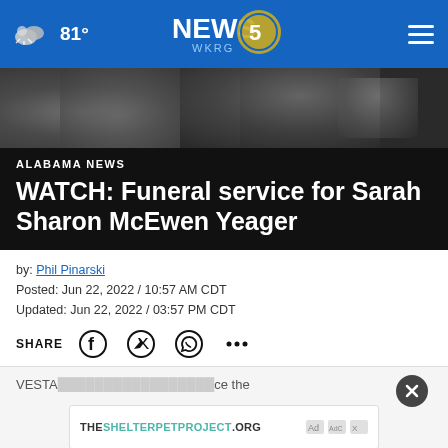NEWS 5 WKRG — 81° weather, navigation menu
[Figure (photo): Blurred background photo of people at a funeral service, dark tones]
ALABAMA NEWS
WATCH: Funeral service for Sarah Sharon McEwen Yeager
by: Phil Pinarski
Posted: Jun 22, 2022 / 10:57 AM CDT
Updated: Jun 22, 2022 / 03:57 PM CDT
SHARE — Facebook, Twitter, WhatsApp, more
VESTA... ice the
[Figure (screenshot): Advertisement banner: THESHELTERPETPROJECT.ORG with ad indicator icons]